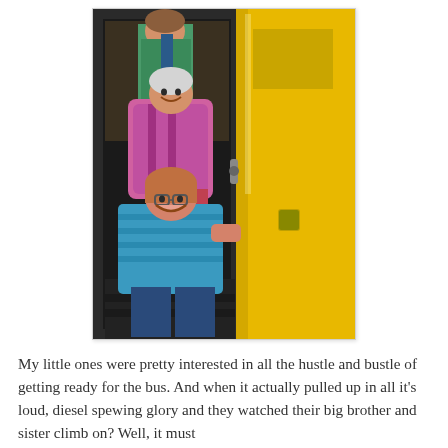[Figure (photo): Children climbing onto a yellow school bus through the open front door. A smiling girl in a blue striped shirt is in the foreground, another child with a large pink backpack is behind her, and a third child with a green vest/backpack is at the top of the steps near the bus driver area. The yellow side of the school bus is visible on the right.]
My little ones were pretty interested in all the hustle and bustle of getting ready for the bus. And when it actually pulled up in all it's loud, diesel spewing glory and they watched their big brother and sister climb on? Well, it must